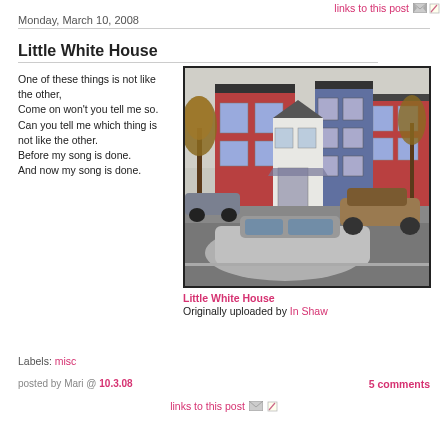links to this post
Monday, March 10, 2008
Little White House
One of these things is not like the other,
Come on won't you tell me so.
Can you tell me which thing is not like the other.
Before my song is done.
And now my song is done.
[Figure (photo): Street scene showing a row of townhouses — a white house in the center flanked by red brick buildings on each side, with cars parked in front. Autumn trees visible.]
Little White House
Originally uploaded by In Shaw
Labels: misc
posted by Mari @ 10.3.08   links to this post   5 comments